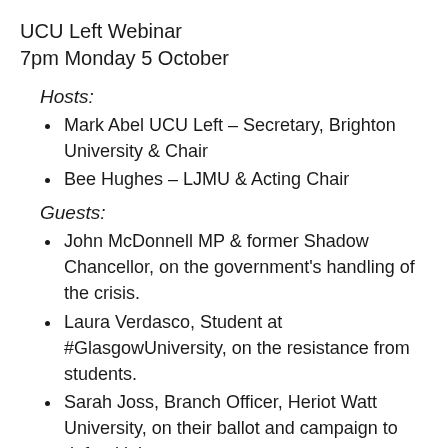UCU Left Webinar
7pm Monday 5 October
Hosts:
Mark Abel UCU Left – Secretary, Brighton University & Chair
Bee Hughes – LJMU & Acting Chair
Guests:
John McDonnell MP & former Shadow Chancellor, on the government's handling of the crisis.
Laura Verdasco, Student at #GlasgowUniversity, on the resistance from students.
Sarah Joss, Branch Officer, Heriot Watt University, on their ballot and campaign to defend jobs.
Delmena Doyle, Health & Safety Rep, Croydon College, reporting on further education colleges battles for safer...